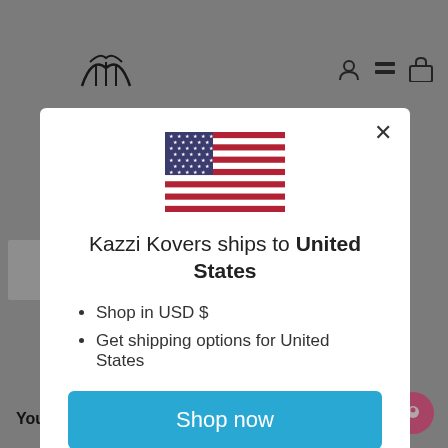[Figure (screenshot): Background of a website page showing a logo, navigation icons, page content (text partially visible behind modal overlay), a 'You May Also Like' section header, and a pink chat button in the bottom right corner.]
[Figure (illustration): US flag icon centered in modal]
Kazzi Kovers ships to United States
Shop in USD $
Get shipping options for United States
Shop now
Change shipping country